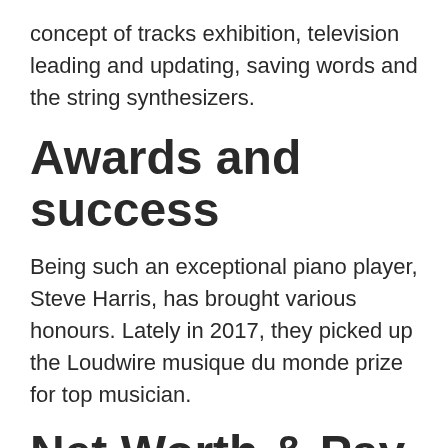concept of tracks exhibition, television leading and updating, saving words and the string synthesizers.
Awards and success
Being such an exceptional piano player, Steve Harris, has brought various honours. Lately in 2017, they picked up the Loudwire musique du monde prize for top musician.
Net Worth & Pay of Steve Harris in 2022